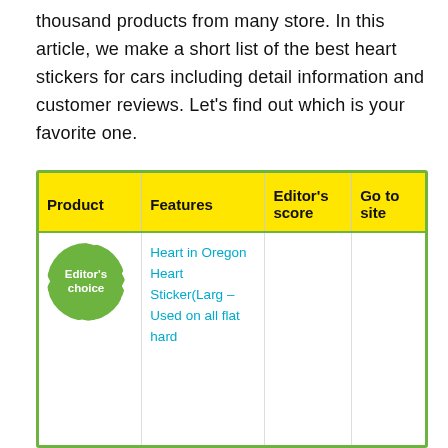thousand products from many store. In this article, we make a short list of the best heart stickers for cars including detail information and customer reviews. Let's find out which is your favorite one.
| Product | Features | Editor's score | Go to site |
| --- | --- | --- | --- |
| Editor's choice [badge] | Heart in Oregon Heart Sticker(Larg – Used on all flat hard |  |  |